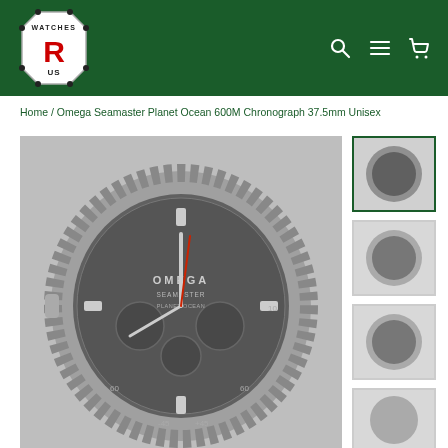[Figure (logo): Watches R US logo - octagonal badge with R in red and US text]
[Figure (other): Navigation icons: search magnifying glass, hamburger menu, shopping cart on dark green header]
Home / Omega Seamaster Planet Ocean 600M Chronograph 37.5mm Unisex
[Figure (photo): Close-up photo of an Omega Seamaster Planet Ocean 600M Chronograph watch face showing dark dial with chronograph subdials, ceramic bezel, and red second hand]
[Figure (photo): Thumbnail 1 - selected (green border): Omega watch photo]
[Figure (photo): Thumbnail 2: Omega watch photo]
[Figure (photo): Thumbnail 3: Omega watch photo]
[Figure (photo): Thumbnail 4: Omega watch photo]